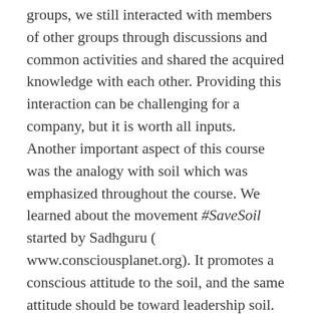groups, we still interacted with members of other groups through discussions and common activities and shared the acquired knowledge with each other. Providing this interaction can be challenging for a company, but it is worth all inputs. Another important aspect of this course was the analogy with soil which was emphasized throughout the course. We learned about the movement #SaveSoil started by Sadhguru ( www.consciousplanet.org). It promotes a conscious attitude to the soil, and the same attitude should be toward leadership soil. Co-creativity in the organization can be compared with the deep level of soil, and instead of minerals that nourish plants, there are energy and wisdom which stimulate growth and development. These co-creative minerals can not only sustain but also poison the soil of leadership. That is why it is very important to find a good use for these resources. It is essential to remember it while developing a co-creative